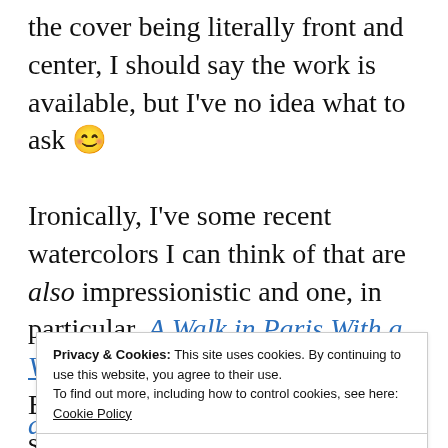the cover being literally front and center, I should say the work is available, but I've no idea what to ask 😊
Ironically, I've some recent watercolors I can think of that are also impressionistic and one, in particular, A Walk in Paris With a View of the Eiffel Tower, nearly as European. But that's cheating, since Paris is in Europe, l
Privacy & Cookies: This site uses cookies. By continuing to use this website, you agree to their use.
To find out more, including how to control cookies, see here:
Cookie Policy
Close and accept
an imaginative figure work!